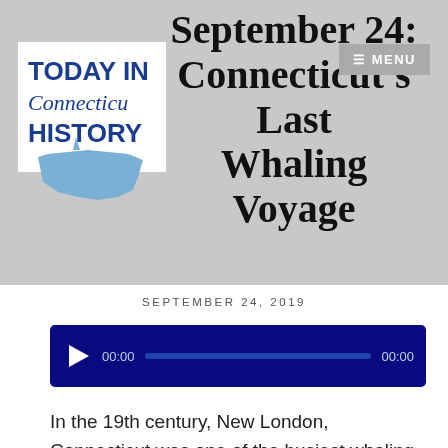September 24: Connecticut's Last Whaling Voyage
SEPTEMBER 24, 2019
[Figure (screenshot): Audio player with play button showing 00:00 / 00:00 on dark blue background]
In the 19th century, New London, Connecticut was one of the busiest whaling hubs in the entire world, outranked only by Nantucket and New Bedford, Massachusetts. Whale oil was a crucial and versatile resource that played a huge role in powering the Industrial Revolution, serving as both fuel for lamps